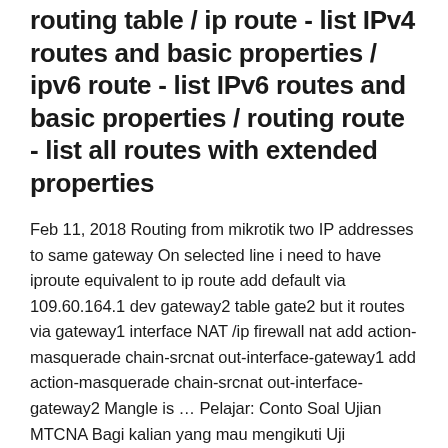routing table / ip route - list IPv4 routes and basic properties / ipv6 route - list IPv6 routes and basic properties / routing route - list all routes with extended properties
Feb 11, 2018 Routing from mikrotik two IP addresses to same gateway On selected line i need to have iproute equivalent to ip route add default via 109.60.164.1 dev gateway2 table gate2 but it routes via gateway1 interface NAT /ip firewall nat add action-masquerade chain-srcnat out-interface-gateway1 add action-masquerade chain-srcnat out-interface-gateway2 Mangle is … Pelajar: Conto Soal Ujian MTCNA Bagi kalian yang mau mengikuti Uji Sertifikasi Mikrotik, cobalah ini untuk latihan sebelum kalian melakukannya langsung. Ada pun bagi kalian yang punya info lain yang bermanfaat silahkan join disini. D. /ip route add dst-address-172.16.0.0/24 gateway-10.10.0.2, /ip route add dst-address-172.32.0.0/24 gateway-10.10.0.2. 2. Possible actions How to Configure your MikroTik Firewall for